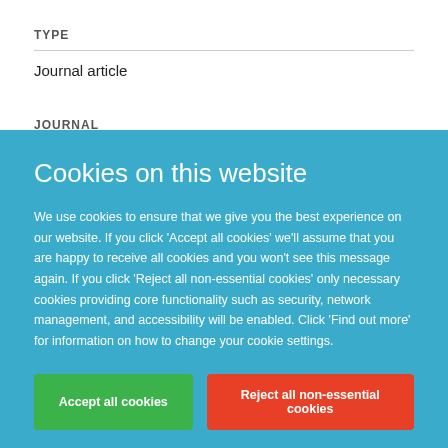TYPE
Journal article
JOURNAL
Cookies on this website
We use cookies to ensure that we give you the best experience on our website. If you click 'Accept all cookies' we'll assume that you are happy to receive all cookies and you won't see this message again. If you click 'Reject all non-essential cookies' only necessary cookies providing core functionality such as security, network management, and accessibility will be enabled. Click 'Find out more' for information on how to change your cookie settings.
Accept all cookies
Reject all non-essential cookies